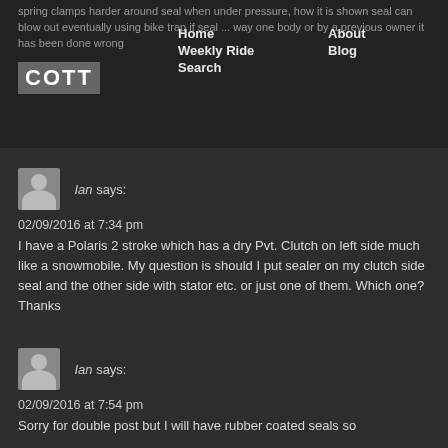spring clamps harder around seal when under pressure, how it is shown seal can blow out eventually using bike trap if seal ... way one body or by a previous owner it has been done wrong
Ian says:
02/09/2016 at 7:34 pm
I have a Polaris 2 stroke which has a dry Pvt. Clutch on left side much like a snowmobile. My question is should I put sealer on my clutch side seal and the other side with stator etc. or just one of them. Which one? Thanks
Ian says:
02/09/2016 at 7:54 pm
Sorry for double post but I will have rubber coated seals so